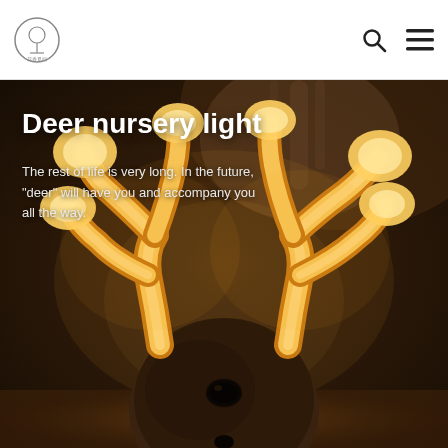Logo navigation header with search and menu icons
[Figure (photo): Deer nursery night light product photo: glowing warm yellow antlers on a dark brown rounded deer figure body, set against a dark brown moody background. The antlers glow with warm amber/golden light. Text overlay reads 'Deer nursery light' and 'The rest of life is very long. In the future, "deer" will have you and accompany you all the way.']
Deer nursery light
The rest of life is very long. In the future, "deer" will have you and accompany you all the way.